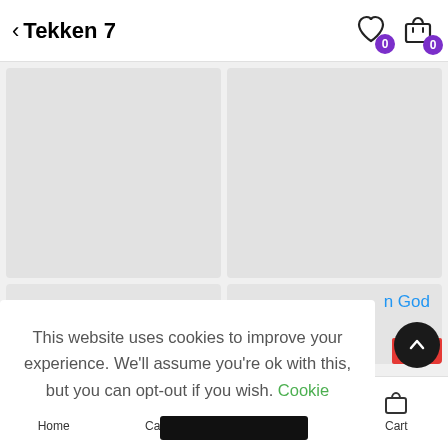< Tekken 7
[Figure (screenshot): Two product image placeholder cards (gray rectangles) in a two-column grid layout, partially visible second row]
n God
This website uses cookies to improve your experience. We'll assume you're ok with this, but you can opt-out if you wish. Cookie
-13%
Home  Category  Search  Cart